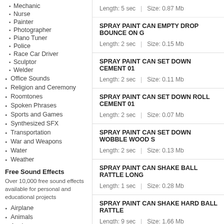Mechanic
Nurse
Painter
Photographer
Piano Tuner
Police
Race Car Driver
Sculptor
Welder
Office Sounds
Religion and Ceremony
Roomtones
Spoken Phrases
Sports and Games
Synthesized SFX
Transportation
War and Weapons
Water
Weather
Free Sound Effects
Over 10,000 free sound effects available for personal and educational projects
Airplane
Animals
Applause
Length: 5 sec   |   Size: 0.87 Mb
SPRAY PAINT CAN EMPTY DROP BOUNCE ON G
Length: 2 sec   |   Size: 0.15 Mb
SPRAY PAINT CAN SET DOWN CEMENT 01
Length: 2 sec   |   Size: 0.11 Mb
SPRAY PAINT CAN SET DOWN ROLL CEMENT 01
Length: 2 sec   |   Size: 0.07 Mb
SPRAY PAINT CAN SET DOWN WOBBLE WOOD S
Length: 2 sec   |   Size: 0.13 Mb
SPRAY PAINT CAN SHAKE BALL RATTLE LONG
Length: 1 sec   |   Size: 0.28 Mb
SPRAY PAINT CAN SHAKE HARD BALL RATTLE
Length: 9 sec   |   Size: 1.66 Mb